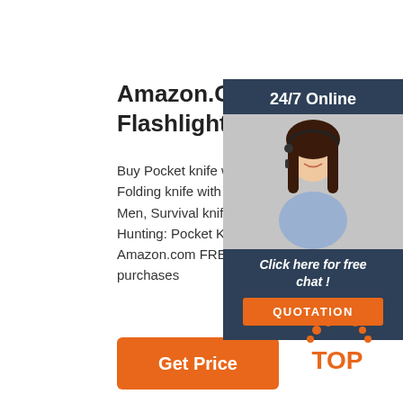Amazon.Com: Pocket Knife With Flashlight Glass Breaker ...
Buy Pocket knife with Flashlight Glass Breaker, Folding knife with Non-slip Handle, Multitool Men, Survival knife for Camping Hiking Fishing Hunting: Pocket Knives & Folding Knives - Amazon.com FREE DELIVERY possible on purchases
Get Price
[Figure (infographic): Right side chat panel with dark blue background showing '24/7 Online' header, a woman with headset photo, 'Click here for free chat!' text, and orange QUOTATION button]
[Figure (logo): TOP logo with orange dots above the text]